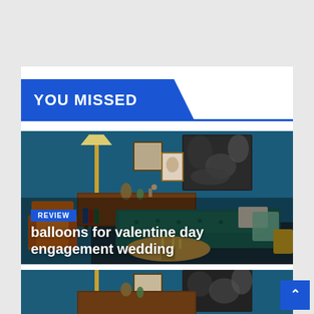YOU MISSED
[Figure (photo): Interior room photo showing a teal tufted sofa, leather chair, wooden sideboard with decorative items, framed artwork on a dark blue wall, and a floor lamp. REVIEW badge overlaid in blue. Article title 'balloons for valentine day engagement wedding' in white text at bottom.]
balloons for valentine day engagement wedding
[Figure (photo): Partial view of another interior room photo, similar to the one above, showing the upper portion of the same style room scene.]